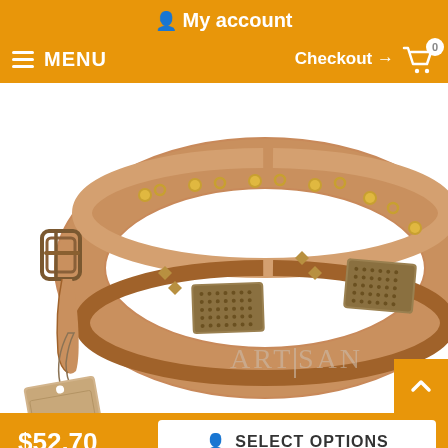My account
MENU   Checkout → 0
[Figure (photo): A tan leather dog collar with metal studs, diamond-shaped and rectangular bronze decorative plates, and a metal buckle. An Artisan branded hang tag is attached. The Artisan logo watermark is visible in the lower right of the image.]
$52.70
SELECT OPTIONS